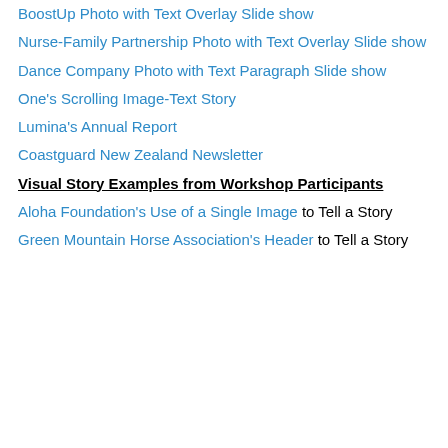BoostUp Photo with Text Overlay Slide show
Nurse-Family Partnership Photo with Text Overlay Slide show
Dance Company Photo with Text Paragraph Slide show
One's Scrolling Image-Text Story
Lumina's Annual Report
Coastguard New Zealand Newsletter
Visual Story Examples from Workshop Participants
Aloha Foundation's Use of a Single Image to Tell a Story
Green Mountain Horse Association's Header to Tell a Story